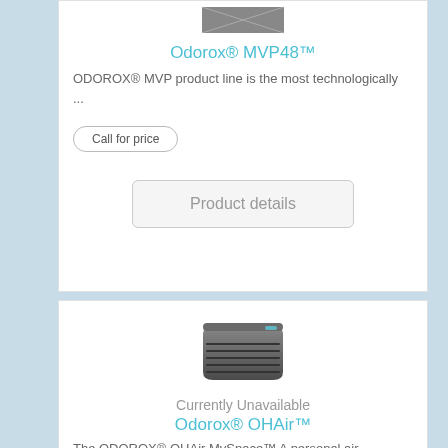[Figure (photo): Product image placeholder for Odorox MVP48]
Odorox® MVP48™
ODOROX® MVP product line is the most technologically ...
Call for price
Product details
[Figure (photo): Odorox OHAir device - dark grey compact air purifier unit]
Currently Unavailable
Odorox® OHAir™
The ODOROX® OHAir MySpace™ A personal air purification ...